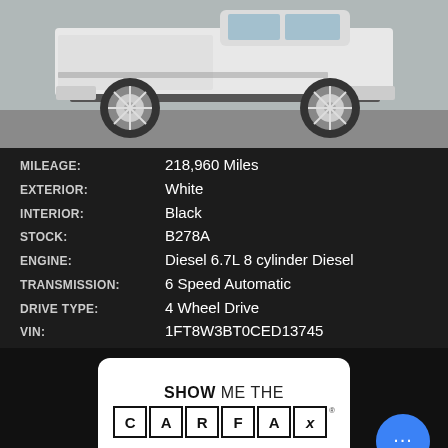[Figure (photo): Side profile photo of a white lifted Ford F-250/F-350 Super Duty truck with chrome wheels on a parking lot]
MILEAGE: 218,960 Miles
EXTERIOR: White
INTERIOR: Black
STOCK: B278A
ENGINE: Diesel 6.7L 8 cylinder Diesel
TRANSMISSION: 6 Speed Automatic
DRIVE TYPE: 4 Wheel Drive
VIN: 1FT8W3BT0CED13745
[Figure (logo): Carfax logo — SHOW ME THE CARFAX with letters C A R F A X in individual boxes]
VIEW DETAILS